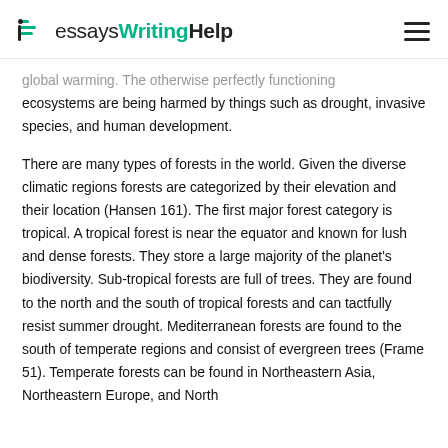EssaysWritingHelp
global warming. The otherwise perfectly functioning ecosystems are being harmed by things such as drought, invasive species, and human development.
There are many types of forests in the world. Given the diverse climatic regions forests are categorized by their elevation and their location (Hansen 161). The first major forest category is tropical. A tropical forest is near the equator and known for lush and dense forests. They store a large majority of the planet's biodiversity. Sub-tropical forests are full of trees. They are found to the north and the south of tropical forests and can tactfully resist summer drought. Mediterranean forests are found to the south of temperate regions and consist of evergreen trees (Frame 51). Temperate forests can be found in Northeastern Asia, Northeastern Europe, and North